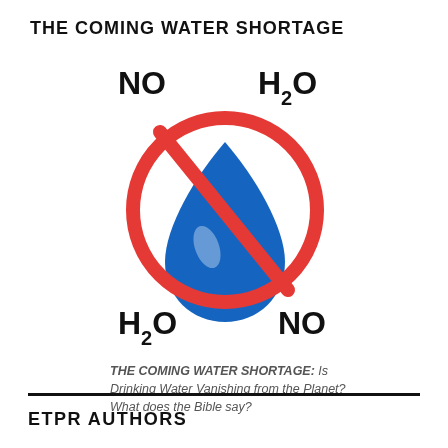THE COMING WATER SHORTAGE
[Figure (illustration): No water prohibition sign: a red circle with a diagonal red slash over a blue water droplet, with 'NO' in bold black at top-left and bottom-right corners, and 'H2O' in bold black at top-right and bottom-left corners.]
THE COMING WATER SHORTAGE: Is Drinking Water Vanishing from the Planet? What does the Bible say?
ETPR AUTHORS